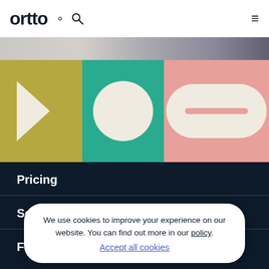ortto
[Figure (illustration): Ortto graphic brand band with three panels: gold panel with white arrow chevron shape, teal panel with white circle, pink panel with white pill/capsule shape with pink horizontal line]
Pricing
Solutions
Feat...
We use cookies to improve your experience on our website. You can find out more in our policy. Accept all cookies